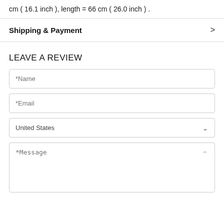cm ( 16.1 inch ), length = 66 cm ( 26.0 inch ) .
Shipping & Payment
LEAVE A REVIEW
*Name
*Email
United States
*Message